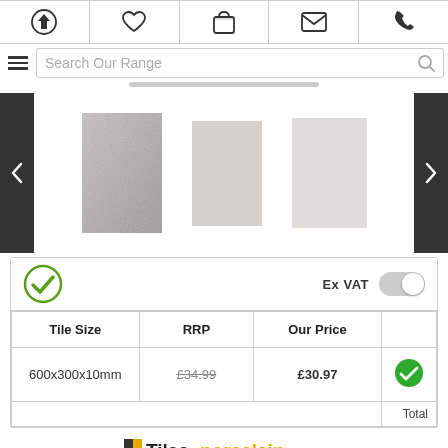[Figure (screenshot): Website navigation bar with icons: home, heart/wishlist, basket, email, phone]
[Figure (screenshot): Search bar with hamburger menu icon and search field labeled 'Search Our Range' with magnifier icon]
[Figure (screenshot): Tile product image carousel with three tile thumbnail images and left/right navigation arrows]
| Tile Size | RRP | Our Price |  |
| --- | --- | --- | --- |
| 600x300x10mm | £34.99 | £30.97 | ✓ |
Total
[Figure (logo): Tilesporcelain logo with yellow/gold square icon and bold text]